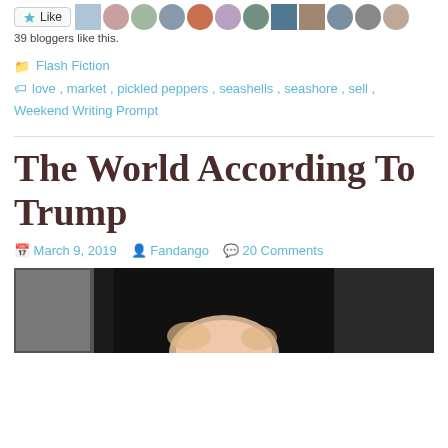[Figure (photo): Like button with star icon and a row of blogger avatar thumbnails (profile photos)]
39 bloggers like this.
Flash Fiction
love, market, pickled peppers, seashells, seashore, sell, Weekend Writing Prompt
The World According To Trump
March 9, 2019   Fandango   20 Comments
[Figure (photo): Partial photo of a person with light-colored hair against a dark background]